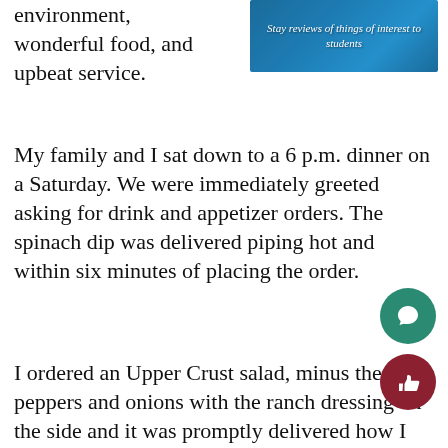environment, wonderful food, and upbeat service.
[Figure (screenshot): Blue banner image with italic white text reading 'Stay reviews of things of interest to students']
My family and I sat down to a 6 p.m. dinner on a Saturday. We were immediately greeted asking for drink and appetizer orders. The spinach dip was delivered piping hot and within six minutes of placing the order.
I ordered an Upper Crust salad, minus the peppers and onions with the ranch dressing on the side and it was promptly delivered how I ordered, which is rare lately. The lettuce, tomatos, and carrots were all crunchy and had a great flavor, honey ham was sweet and cold, and the house made ranch was very delicious and was bursting with flavor. Roughly 10 minutes later my family the sal ance and pieces the ordered. The al...